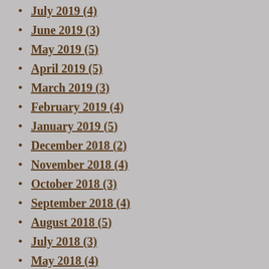July 2019 (4)
June 2019 (3)
May 2019 (5)
April 2019 (5)
March 2019 (3)
February 2019 (4)
January 2019 (5)
December 2018 (2)
November 2018 (4)
October 2018 (3)
September 2018 (4)
August 2018 (5)
July 2018 (3)
May 2018 (4)
April 2018 (6)
March 2018 (5)